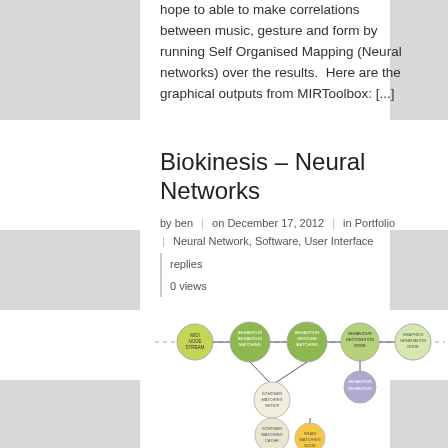hope to able to make correlations between music, gesture and form by running Self Organised Mapping (Neural networks) over the results.  Here are the graphical outputs from MIRToolbox: [...]
Biokinesis – Neural Networks
by ben  |  on December 17, 2012  |  in Portfolio  |  Neural Network, Software, User Interface
replies
0 views
[Figure (network-graph): A network/flowchart diagram showing nodes connected in a horizontal pipeline and vertical hierarchy. Top horizontal chain includes green/yellow-green circular nodes labeled: MIDI NODE STREAM, BEHAVIOUR BEHAVIOUR MATCHING, BEHAVIOUR GESTURE MATCHING, BEHAVIOUR RECOGNITION NODE, and GRAPHICS GENERATION NODE connected by a dashed line. Below the chain, branching downward: KOHONEN MATCHING GROUP node, then KOHONEN MATCHING CACHE node, then BRAIN MATCHING NODE (yellow) at the bottom with a dashed line continuing down. A purple node labeled BEHAVIOUR BEHAVIOUR branches off the main horizontal line.]